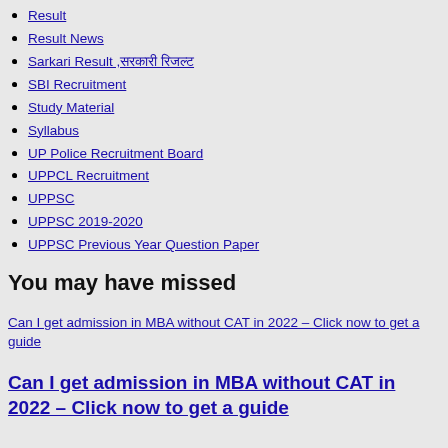Result
Result News
Sarkari Result ,सरकारी रिजल्ट
SBI Recruitment
Study Material
Syllabus
UP Police Recruitment Board
UPPCL Recruitment
UPPSC
UPPSC 2019-2020
UPPSC Previous Year Question Paper
You may have missed
Can I get admission in MBA without CAT in 2022 – Click now to get a guide
Can I get admission in MBA without CAT in 2022 – Click now to get a guide